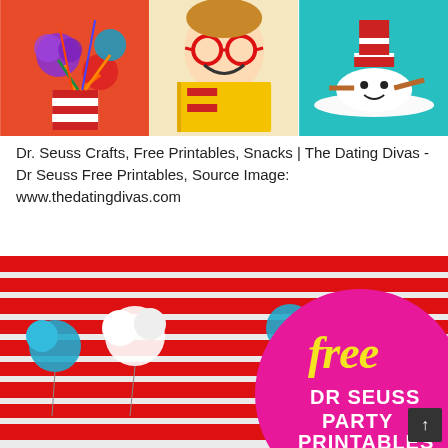[Figure (photo): Three-panel collage of Dr. Seuss themed crafts: left panel shows colorful pompom flowers in a red-and-white striped vase on orange background; center panel shows a child wearing red Cat in the Hat glasses holding a Dr. Seuss book; right panel shows a Cat in the Hat themed cupcake with red top hat on a plate against teal background.]
Dr. Seuss Crafts, Free Printables, Snacks | The Dating Divas - Dr Seuss Free Printables, Source Image: www.thedatingdivas.com
[Figure (photo): Photo of a Dr. Seuss party setup with red and white striped tablecloth, white and teal tissue paper pompoms, and a large magenta/pink circle overlay with yellow cursive text 'free' and white bold text 'DR SEUSS PARTY PRINTABLES'.]